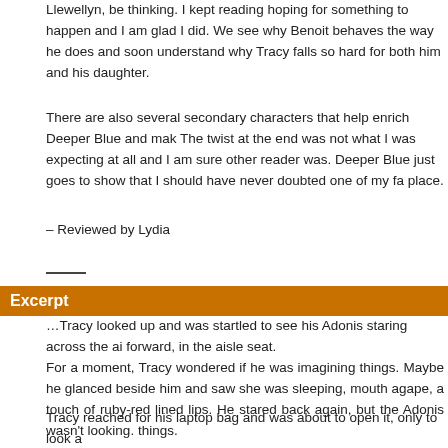Llewellyn, be thinking. I kept reading hoping for something to happen and I am glad I did. We see why Benoit behaves the way he does and soon understand why Tracy falls so hard for both him and his daughter.
There are also several secondary characters that help enrich Deeper Blue and make it realistic. The twist at the end was not what I was expecting at all and I am sure other readers will agree it was. Deeper Blue just goes to show that I should have never doubted one of my favourite writers in place.
– Reviewed by Lydia
Excerpt
…Tracy looked up and was startled to see his Adonis staring across the aisle at him, leaning forward, in the aisle seat.
For a moment, Tracy wondered if he was imagining things. Maybe he glanced beside him and saw she was sleeping, mouth agape, a touch of ruby-red lined lips. He stared back again, but the Adonis wasn't looking. things.
Tracy reached for his laptop bag and was about to open it, only to look a No, it wasn't his imagination. The Adonis was looking at him. He was so s back. He was shocked when the Adonis made a point of glancing in the back at him again.
My God, Tracy thought. He's cruising me!